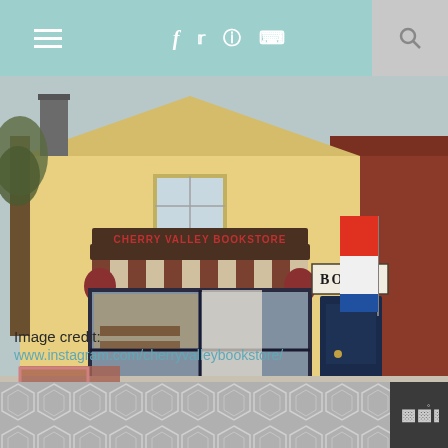Navigation bar with hamburger menu, social icons (f, twitter, instagram, pinterest), and search
[Figure (photo): Exterior of Cherry Valley Bookstore, a small yellow clapboard building with a striped awning, large display window, BOOKS sign, dark blue door, and a flag, with pumpkins in the window display.]
Image credit:
www.instagram.com/cherryvalleybookstore/
Footer with geometric hexagon pattern and logo mark